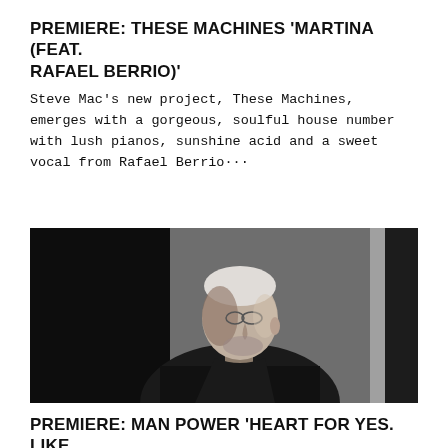PREMIERE: THESE MACHINES 'MARTINA (FEAT. RAFAEL BERRIO)'
Steve Mac's new project, These Machines, emerges with a gorgeous, soulful house number with lush pianos, sunshine acid and a sweet vocal from Rafael Berrio···
[Figure (photo): Black and white photograph of a bald man with glasses and stubble, wearing a dark jacket, looking to the right in a dimly lit room with a window visible on the far right.]
PREMIERE: MAN POWER 'HEART FOR YES. LIKE FOR NO'